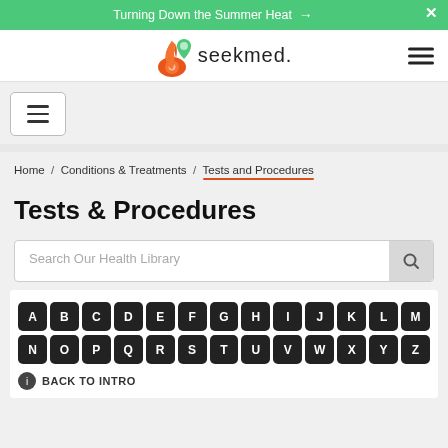Turning Down the Summer Heat →
[Figure (logo): seekmed. logo with flame and map-pin icon]
Home / Conditions & Treatments / Tests and Procedures
Tests & Procedures
Search Our Health Library
A B C D E F G H I J K L M N O P Q R S T U V W X Y Z
BACK TO INTRO